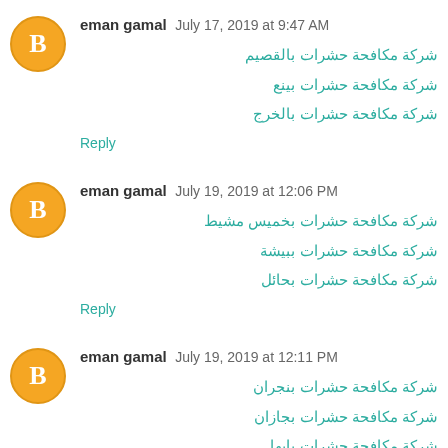eman gamal  July 17, 2019 at 9:47 AM
شركة مكافحة حشرات بالقصيم
شركة مكافحة حشرات بينع
شركة مكافحة حشرات بالخرج
Reply
eman gamal  July 19, 2019 at 12:06 PM
شركة مكافحة حشرات بخميس مشيط
شركة مكافحة حشرات ببيشة
شركة مكافحة حشرات بحائل
Reply
eman gamal  July 19, 2019 at 12:11 PM
شركة مكافحة حشرات بنجران
شركة مكافحة حشرات بجازان
شركة مكافحة حشرات بابها
Reply